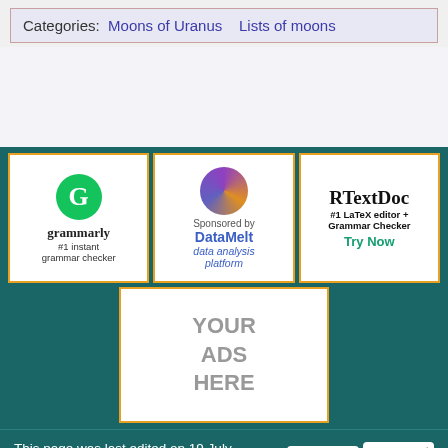Categories:  Moons of Uranus    Lists of moons
[Figure (other): Grammarly ad: #1 instant grammar checker with green G logo]
[Figure (other): DataMelt sponsored ad: data analysis platform with globe graphic]
[Figure (other): RTextDoc ad: #1 LaTeX editor + Grammar Checker, Try Now]
[Figure (other): Placeholder ad box: YOUR ADS HERE]
This page was last edited on 19 July 2022, at 15:03.
Privacy policy    About HandWiki    Disclaimers